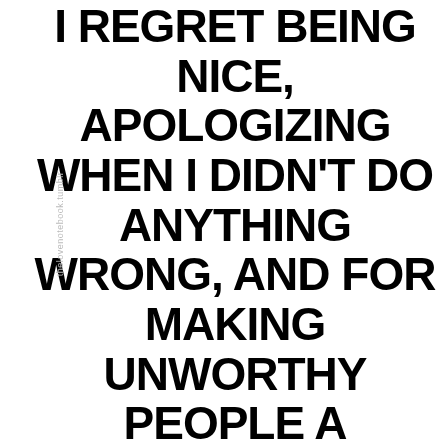I REGRET BEING NICE, APOLOGIZING WHEN I DIDN'T DO ANYTHING WRONG, AND FOR MAKING UNWORTHY PEOPLE A PRIORITY IN MY LIFE
thelovenotebook.tumblr